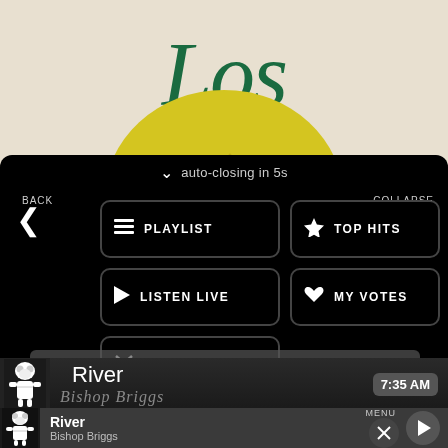[Figure (screenshot): Music app screenshot showing album art with cursive 'Los' text on cream background with yellow lemon/circle, overlaid by a dark menu with navigation buttons: PLAYLIST, TOP HITS, LISTEN LIVE, MY VOTES, CONTROLS. Auto-closing countdown shown. Now playing bar shows 'River' by Bishop Briggs at 7:35 AM.]
auto-closing in 5s
BACK
COLLAPSE
PLAYLIST
TOP HITS
LISTEN LIVE
MY VOTES
CONTROLS
River
Bishop Briggs
7:35 AM
MENU
River
Bishop Briggs